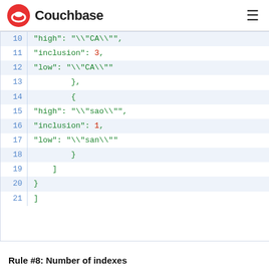Couchbase
[Figure (screenshot): Code block showing JSON lines 10-21 with line numbers, alternating highlighted rows. Lines show JSON fields: high, inclusion, low for two objects inside an array.]
Rule #8: Number of indexes